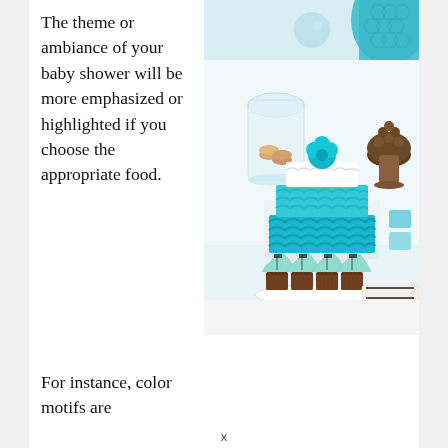The theme or ambiance of your baby shower will be more emphasized or highlighted if you choose the appropriate food.
[Figure (photo): A baby shower dessert table featuring a large teal/turquoise ruffled cake, chocolate cupcakes with mint frosting, a glass dome with macarons, a bowl of chocolate truffles, and teal decorations against a white background.]
For instance, color motifs are
x